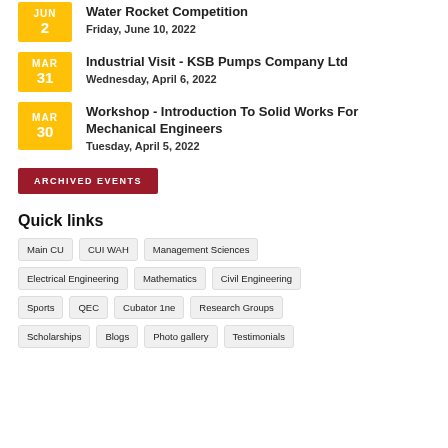Water Rocket Competition
Friday, June 10, 2022
Industrial Visit - KSB Pumps Company Ltd
Wednesday, April 6, 2022
Workshop - Introduction To Solid Works For Mechanical Engineers
Tuesday, April 5, 2022
ARCHIVED EVENTS
Quick links
Main CU | CUI WAH | Management Sciences
Electrical Engineering | Mathematics | Civil Engineering
Sports | QEC | Cubator 1ne | Research Groups
Scholarships | Blogs | Photo gallery | Testimonials